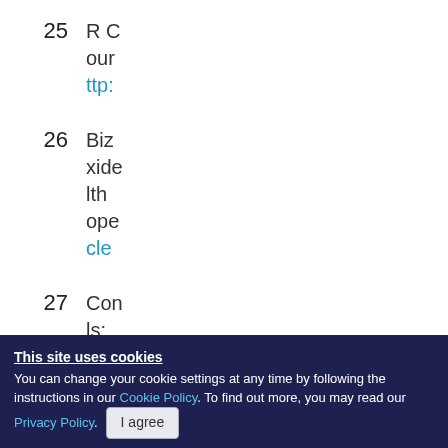25  R C our ttp:
26  Biz xide lth ope cle
27  Con ls: BI V
This site uses cookies
You can change your cookie settings at any time by following the instructions in our Cookie Policy. To find out more, you may read our Privacy Policy.  I agree